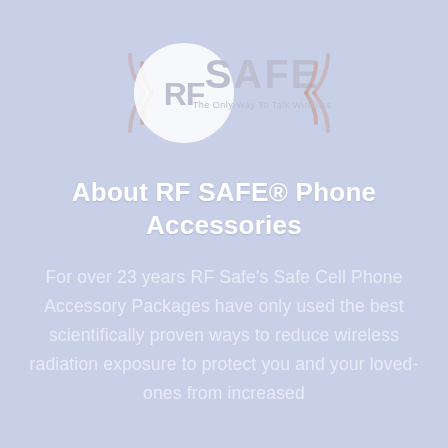[Figure (logo): RF SAFE logo — circular emblem with 'RF' inside a white circle, 'SAFE' text to the right with radio wave graphics on both sides, and tagline 'The Only Way To Talk Wireless']
About RF SAFE® Phone Accessories
For over 23 years RF Safe's Safe Cell Phone Accessory Packages have only used the best scientifically proven ways to reduce wireless radiation exposure to protect you and your loved-ones from increased